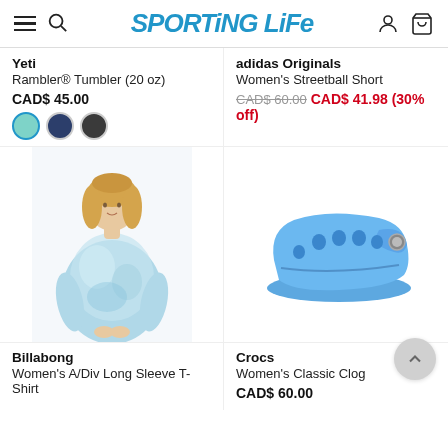Sporting Life
Yeti
Rambler® Tumbler (20 oz)
CAD$ 45.00
adidas Originals
Women's Streetball Short
CAD$ 60.00 CAD$ 41.98 (30% off)
[Figure (photo): Woman wearing a blue tie-dye long sleeve t-shirt, Billabong product photo]
[Figure (photo): Blue Crocs Women's Classic Clog shoe, side view on white background]
Billabong
Women's A/Div Long Sleeve T-Shirt
Crocs
Women's Classic Clog
CAD$ 60.00